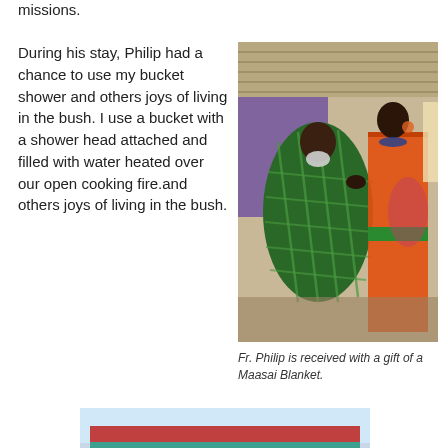missions.
During his stay, Philip had a chance to use my bucket shower and others joys of living in the bush. I use a bucket with a shower head attached and filled with water heated over our open cooking fire.and others joys of living in the bush.
[Figure (photo): Fr. Philip being received with a gift of a Maasai Blanket, draped in a green plaid blanket by a woman in orange traditional dress, inside a corrugated metal building.]
Fr. Philip is received with a gift of a Maasai Blanket.
[Figure (photo): Partial view of a building exterior, appears to be a church or community building with a red roof and teal/green trim.]